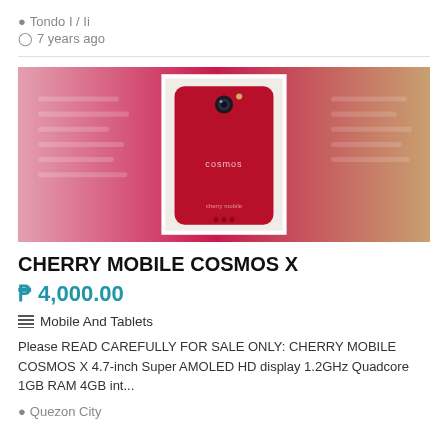Tondo I / Ii
7 years ago
[Figure (photo): Cherry Mobile Cosmos X smartphone in red/magenta color, showing back of phone with camera and Cherry Mobile branding. Main image is a blurred pink/red background with a focused inset photo of the phone.]
CHERRY MOBILE COSMOS X
₱ 4,000.00
Mobile And Tablets
Please READ CAREFULLY FOR SALE ONLY: CHERRY MOBILE COSMOS X 4.7-inch Super AMOLED HD display 1.2GHz Quadcore 1GB RAM 4GB int...
Quezon City